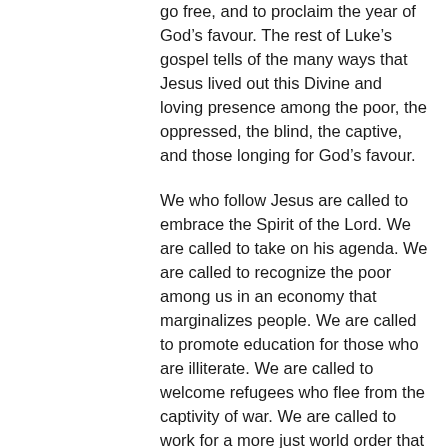go free, and to proclaim the year of God’s favour. The rest of Luke’s gospel tells of the many ways that Jesus lived out this Divine and loving presence among the poor, the oppressed, the blind, the captive, and those longing for God’s favour.
We who follow Jesus are called to embrace the Spirit of the Lord. We are called to take on his agenda. We are called to recognize the poor among us in an economy that marginalizes people. We are called to promote education for those who are illiterate. We are called to welcome refugees who flee from the captivity of war. We are called to work for a more just world order that will eradicate all oppression. And finally, we are called to announce the year of God’s favour, embracing the Year of Mercy that the Holy Father, Pope Francis, has